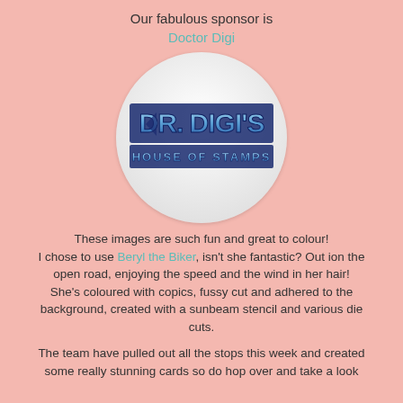Our fabulous sponsor is
Doctor Digi
[Figure (logo): Dr. Digi's House of Stamps logo — blue 3D stylized text on a circular white/grey gradient background]
These images are such fun and great to colour! I chose to use Beryl the Biker, isn't she fantastic? Out ion the open road, enjoying the speed and the wind in her hair! She's coloured with copics, fussy cut and adhered to the background, created with a sunbeam stencil and various die cuts.
The team have pulled out all the stops this week and created some really stunning cards so do hop over and take a look